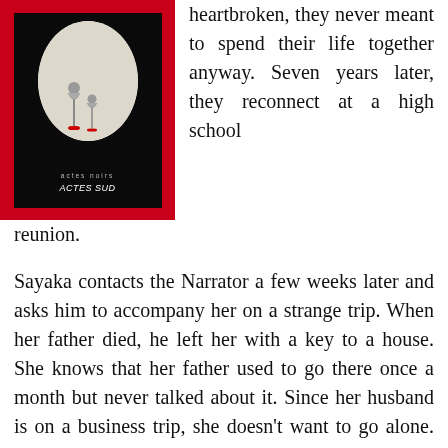[Figure (photo): Book cover of a Japanese novel published by Actes Noirs / Actes Sud. Red border with black background inside, featuring an oval vignette showing two figures in traditional clothing.]
heartbroken, they never meant to spend their life together anyway. Seven years later, they reconnect at a high school reunion.
Sayaka contacts the Narrator a few weeks later and asks him to accompany her on a strange trip. When her father died, he left her with a key to a house. She knows that her father used to go there once a month but never talked about it. Since her husband is on a business trip, she doesn't want to go alone. The Narrator accepts and they drive to a strange house in the woods by Matsubara Lake.
Sayaka doesn't have any family left and has no memories of her early childhood. She wants her memory back and hopes that this house will trigger something in her.